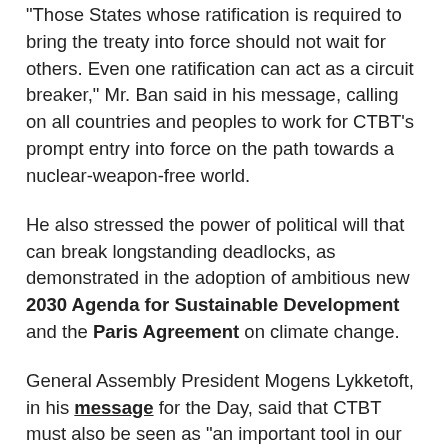"Those States whose ratification is required to bring the treaty into force should not wait for others. Even one ratification can act as a circuit breaker," Mr. Ban said in his message, calling on all countries and peoples to work for CTBT's prompt entry into force on the path towards a nuclear-weapon-free world.
He also stressed the power of political will that can break longstanding deadlocks, as demonstrated in the adoption of ambitious new 2030 Agenda for Sustainable Development and the Paris Agreement on climate change.
General Assembly President Mogens Lykketoft, in his message for the Day, said that CTBT must also be seen as “an important tool in our endeavour to achieve a world free of nuclear weapons,” adding his voice to the call on those States which have not yet done so to sign and ratify CTBT to enable its entry into force.
Mr. Lykketoft also noted that moratoriums on nuclear testing have had a positive impact on the international security